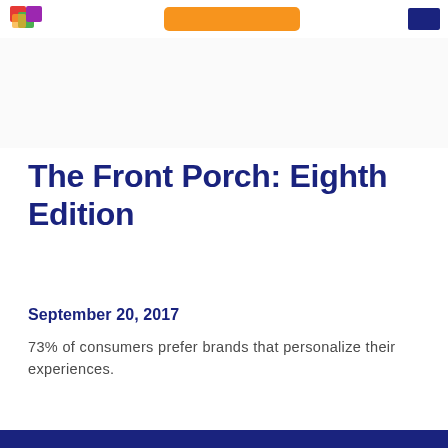[Figure (illustration): Decorative repeating hexagonal cube pattern band in light gray on white background]
The Front Porch: Eighth Edition
September 20, 2017
73% of consumers prefer brands that personalize their experiences.